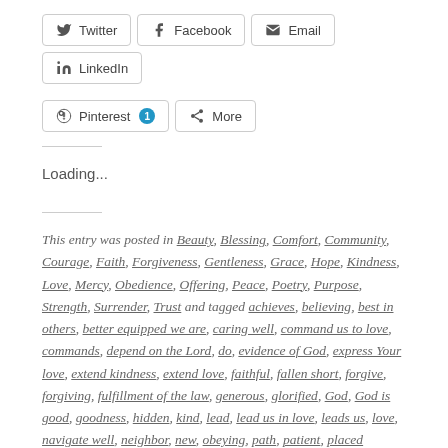[Figure (other): Social share buttons row 1: Twitter, Facebook, Email, LinkedIn]
[Figure (other): Social share buttons row 2: Pinterest (with badge 1), More]
Loading...
This entry was posted in Beauty, Blessing, Comfort, Community, Courage, Faith, Forgiveness, Gentleness, Grace, Hope, Kindness, Love, Mercy, Obedience, Offering, Peace, Poetry, Purpose, Strength, Surrender, Trust and tagged achieves, believing, best in others, better equipped we are, caring well, command us to love, commands, depend on the Lord, do, evidence of God, express Your love, extend kindness, extend love, faithful, fallen short, forgive, forgiving, fulfillment of the law, generous, glorified, God, God is good, goodness, hidden, kind, lead, lead us in love, leads us, love, navigate well, neighbor, new, obeying, path, patient, placed